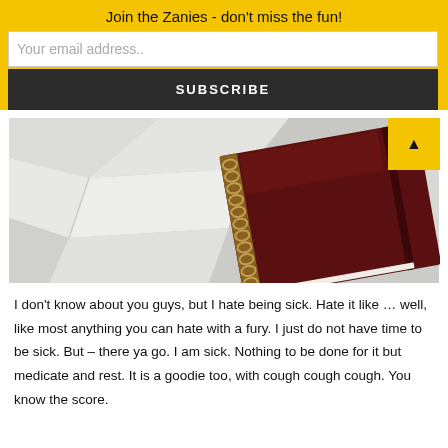Join the Zanies - don't miss the fun!
Your email address..
SUBSCRIBE
[Figure (photo): A dark red/maroon spiral-bound notebook lying on crumpled white bed sheets or fabric]
I don't know about you guys, but I hate being sick. Hate it like … well, like most anything you can hate with a fury. I just do not have time to be sick. But – there ya go. I am sick. Nothing to be done for it but medicate and rest.  It is a goodie too, with cough cough cough. You know the score.